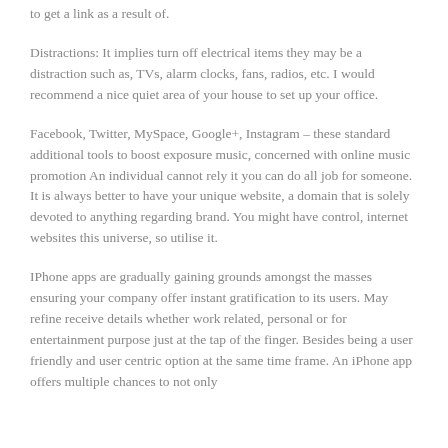to get a link as a result of.
Distractions: It implies turn off electrical items they may be a distraction such as, TVs, alarm clocks, fans, radios, etc. I would recommend a nice quiet area of your house to set up your office.
Facebook, Twitter, MySpace, Google+, Instagram – these standard additional tools to boost exposure music, concerned with online music promotion An individual cannot rely it you can do all job for someone. It is always better to have your unique website, a domain that is solely devoted to anything regarding brand. You might have control, internet websites this universe, so utilise it.
IPhone apps are gradually gaining grounds amongst the masses ensuring your company offer instant gratification to its users. May refine receive details whether work related, personal or for entertainment purpose just at the tap of the finger. Besides being a user friendly and user centric option at the same time frame. An iPhone app offers multiple chances to not only